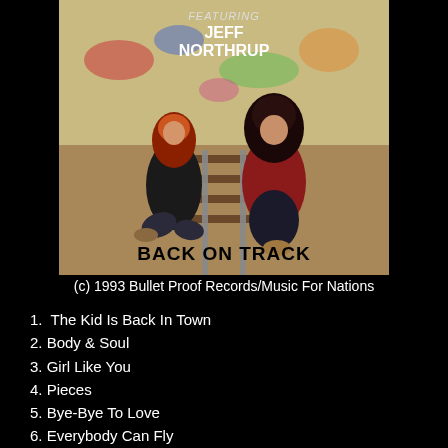[Figure (photo): Album cover for 'Back On Track' featuring Jeff Northrup. Two musicians with long hair sitting on railroad tracks with graffiti wall background.]
(c) 1993 Bullet Proof Records/Music For Nations
1.  The Kid Is Back In Town
2. Body & Soul
3. Girl Like You
4. Pieces
5. Bye-Bye To Love
6. Everybody Can Fly
7. Give Me Love
8. Remember Me...